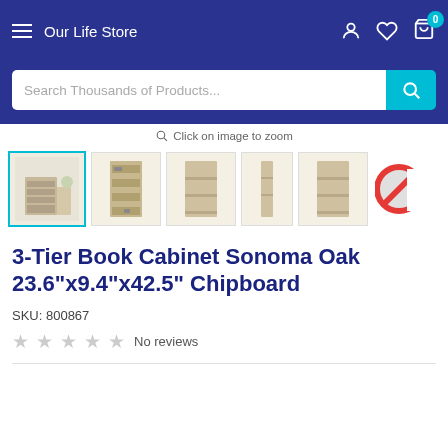Our Life Store
Search Thousands of Products...
Click on image to zoom
[Figure (photo): Product thumbnails for 3-Tier Book Cabinet Sonoma Oak: main selected image showing cabinet in room setting, plus 4 additional thumbnail views (front angles, side view)]
3-Tier Book Cabinet Sonoma Oak 23.6"x9.4"x42.5" Chipboard
SKU: 800867
No reviews